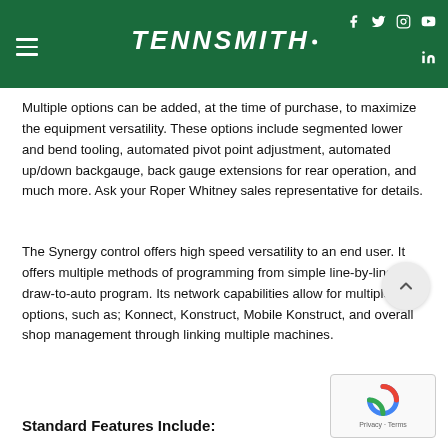TENNSMITH. (with social icons: Facebook, Twitter, Instagram, YouTube, LinkedIn)
Multiple options can be added, at the time of purchase, to maximize the equipment versatility. These options include segmented lower and bend tooling, automated pivot point adjustment, automated up/down backgauge, back gauge extensions for rear operation, and much more. Ask your Roper Whitney sales representative for details.
The Synergy control offers high speed versatility to an end user. It offers multiple methods of programming from simple line-by-line to draw-to-auto program. Its network capabilities allow for multiple options, such as; Konnect, Konstruct, Mobile Konstruct, and overall shop management through linking multiple machines.
Standard Features Include: